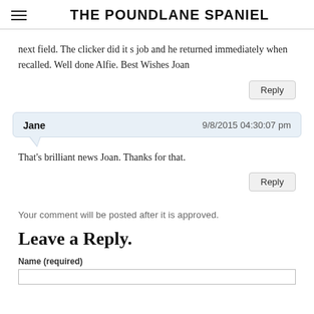THE POUNDLANE SPANIEL
next field. The clicker did it s job and he returned immediately when recalled. Well done Alfie. Best Wishes Joan
Reply
Jane  9/8/2015 04:30:07 pm
That's brilliant news Joan. Thanks for that.
Reply
Your comment will be posted after it is approved.
Leave a Reply.
Name (required)